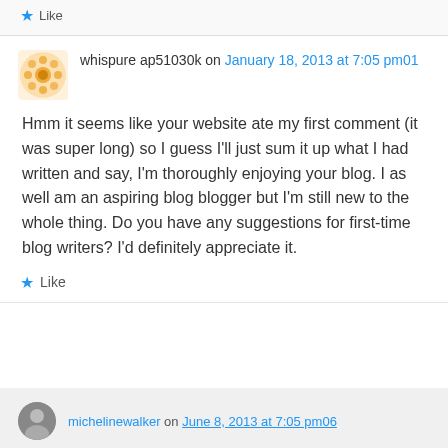Like
whispure ap51030k on January 18, 2013 at 7:05 pm01
Hmm it seems like your website ate my first comment (it was super long) so I guess I'll just sum it up what I had written and say, I'm thoroughly enjoying your blog. I as well am an aspiring blog blogger but I'm still new to the whole thing. Do you have any suggestions for first-time blog writers? I'd definitely appreciate it.
Like
michelinewalker on June 8, 2013 at 7:05 pm06